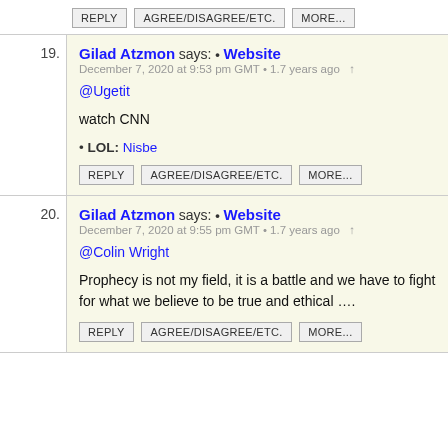REPLY   AGREE/DISAGREE/ETC.   MORE...
19. Gilad Atzmon says: • Website
December 7, 2020 at 9:53 pm GMT • 1.7 years ago ↑
@Ugetit

watch CNN

• LOL: Nisbe

REPLY   AGREE/DISAGREE/ETC.   MORE...
20. Gilad Atzmon says: • Website
December 7, 2020 at 9:55 pm GMT • 1.7 years ago ↑
@Colin Wright

Prophecy is not my field, it is a battle and we have to fight for what we believe to be true and ethical ….

REPLY   AGREE/DISAGREE/ETC.   MORE...